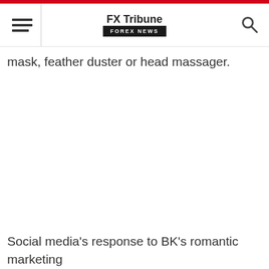FX Tribune FOREX NEWS
mask, feather duster or head massager.
Social media's response to BK's romantic marketing